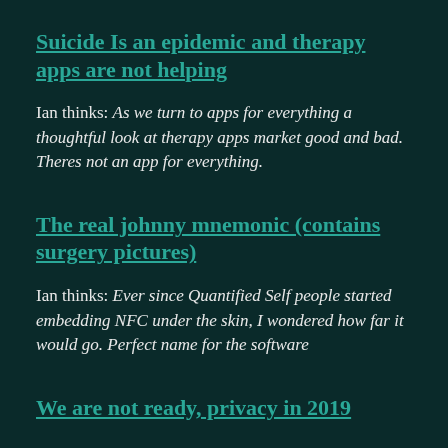Suicide Is an epidemic and therapy apps are not helping
Ian thinks: As we turn to apps for everything a thoughtful look at therapy apps market good and bad. Theres not an app for everything.
The real johnny mnemonic (contains surgery pictures)
Ian thinks: Ever since Quantified Self people started embedding NFC under the skin, I wondered how far it would go. Perfect name for the software
We are not ready, privacy in 2019